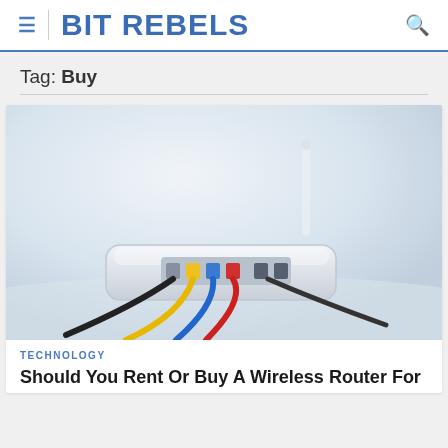BIT REBELS
Tag: Buy
[Figure (photo): Photo of a white wireless router from the back, with multiple colored ethernet cables (blue, yellow, red, black) plugged into its ports, and a white antenna extending upward. The router sits on a white surface against a light background.]
TECHNOLOGY
Should You Rent Or Buy A Wireless Router For